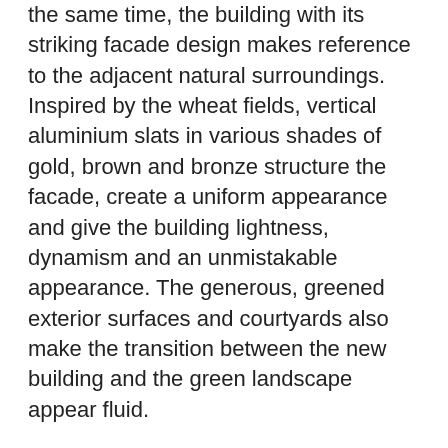the same time, the building with its striking facade design makes reference to the adjacent natural surroundings. Inspired by the wheat fields, vertical aluminium slats in various shades of gold, brown and bronze structure the facade, create a uniform appearance and give the building lightness, dynamism and an unmistakable appearance. The generous, greened exterior surfaces and courtyards also make the transition between the new building and the green landscape appear fluid.
The building structure consists of five four-storey building blocks, which are connected by a glass base on the ground floor, meeting the client's central wish to be able to rent out part of the office space. Two of the five blocks can be separated as unique units without disturbing the strong overall impression of the building. Three blocks are used by Lalux.
The ground floor and the first basement level house the